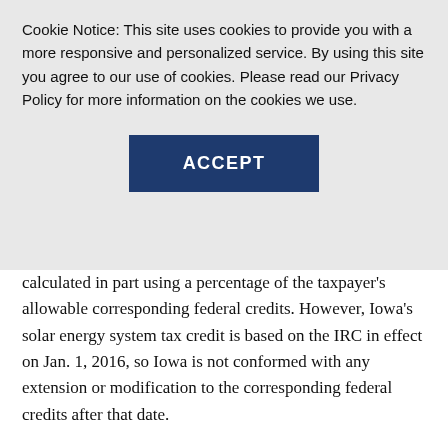Cookie Notice: This site uses cookies to provide you with a more responsive and personalized service. By using this site you agree to our use of cookies. Please read our Privacy Policy for more information on the cookies we use.
[Figure (other): ACCEPT button — a dark navy blue rectangular button with white bold uppercase text reading ACCEPT]
calculated in part using a percentage of the taxpayer's allowable corresponding federal credits. However, Iowa's solar energy system tax credit is based on the IRC in effect on Jan. 1, 2016, so Iowa is not conformed with any extension or modification to the corresponding federal credits after that date.
Depreciation of residential rental property
Iowa doesn't conform with the change to the Alternative Depreciation System (ADS) for tax years beginning after Dec. 31, 2017 and before Jan. 1, 2020. Therefore, affected